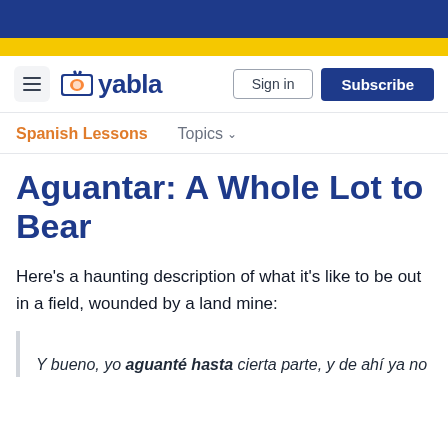Yabla - Spanish Lessons - Topics
Aguantar: A Whole Lot to Bear
Here's a haunting description of what it's like to be out in a field, wounded by a land mine:
Y bueno, yo aguanté hasta cierta parte, y de ahí ya no